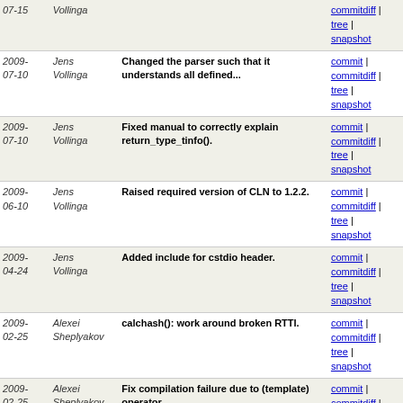| Date | Author | Message | Links |
| --- | --- | --- | --- |
| 07-15 | Vollinga |  | commitdiff | tree | snapshot |
| 2009-07-10 | Jens Vollinga | Changed the parser such that it understands all defined... | commit | commitdiff | tree | snapshot |
| 2009-07-10 | Jens Vollinga | Fixed manual to correctly explain return_type_tinfo(). | commit | commitdiff | tree | snapshot |
| 2009-06-10 | Jens Vollinga | Raised required version of CLN to 1.2.2. | commit | commitdiff | tree | snapshot |
| 2009-04-24 | Jens Vollinga | Added include for cstdio header. | commit | commitdiff | tree | snapshot |
| 2009-02-25 | Alexei Sheplyakov | calchash(): work around broken RTTI. | commit | commitdiff | tree | snapshot |
| 2009-02-25 | Alexei Sheplyakov | Fix compilation failure due to (template) operator... | commit | commitdiff | tree | snapshot |
| 2009-02-17 | Alexei Sheplyakov | Univariate GCD timing: use sr_gcd when appropriate. [release_1-5-0] | commit | commitdiff | tree | snapshot |
| 2009-02-17 | Alexei Sheplyakov | Polished NEWS a little bit. | commit | commitdiff | tree | snapshot |
| 2009-02-17 | Jens Vollinga | Added release date. | commit | commitdiff | tree | snapshot |
| 2009-02-06 | Jens Vollinga | Adjusted NEWS and INSTALL documentation. | commit | commitdiff |